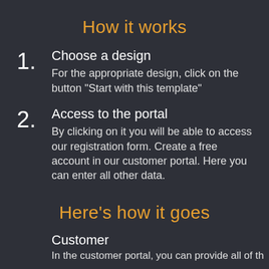How it works
1. Choose a design
For the appropriate design, click on the button "Start with this template"
2. Access to the portal
By clicking on it you will be able to access our registration form. Create a free account in our customer portal. Here you can enter all other data.
Here's how it goes
Customer